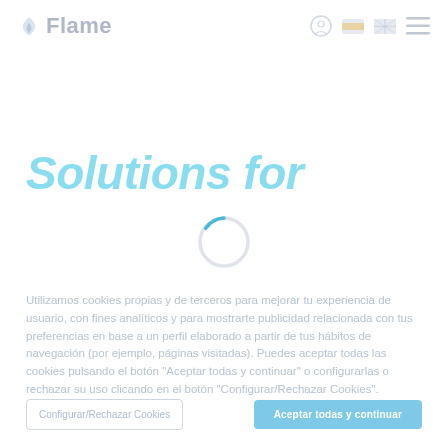Flame
Solutions for
[Figure (other): Circular loading spinner, partially blue arc on light gray circle, centered on the page overlay]
Utilizamos cookies propias y de terceros para mejorar tu experiencia de usuario, con fines analíticos y para mostrarte publicidad relacionada con tus preferencias en base a un perfil elaborado a partir de tus hábitos de navegación (por ejemplo, páginas visitadas). Puedes aceptar todas las cookies pulsando el botón "Aceptar todas y continuar" o configurarlas o rechazar su uso clicando en el botón "Configurar/Rechazar Cookies".
Configurar/Rechazar Cookies
Aceptar todas y continuar